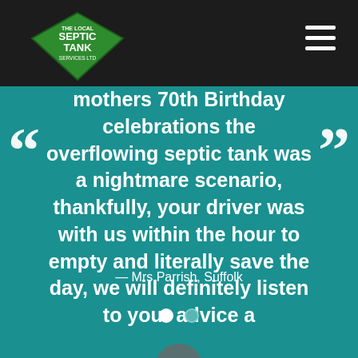[Figure (logo): The Local Septic Tank Services Ltd logo - green diamond/rhombus shape with white text]
mothers 70th Birthday celebrations the overflowing septic tank was a nightmare scenario, thankfully, your driver was with us within the hour to empty and literally save the day, we will definitely listen to your advice a
— Mrs Parrish, Suffolk